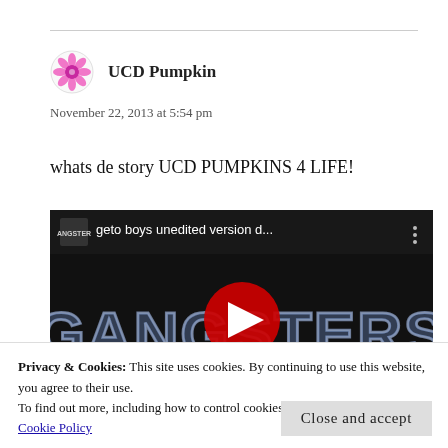[Figure (illustration): Pink flower/snowflake avatar icon for UCD Pumpkin user]
UCD Pumpkin
November 22, 2013 at 5:54 pm
whats de story UCD PUMPKINS 4 LIFE!
[Figure (screenshot): YouTube video embed showing 'geto boys unedited version d...' with GANGSTERS text on dark background and red play button]
Privacy & Cookies: This site uses cookies. By continuing to use this website, you agree to their use.
To find out more, including how to control cookies, see here: Cookie Policy
Close and accept
Reply